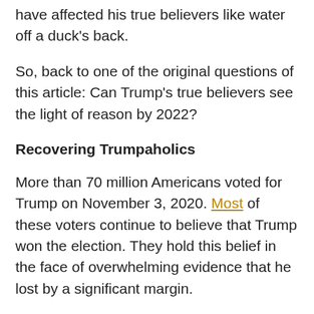have affected his true believers like water off a duck's back.
So, back to one of the original questions of this article: Can Trump's true believers see the light of reason by 2022?
Recovering Trumpaholics
More than 70 million Americans voted for Trump on November 3, 2020. Most of these voters continue to believe that Trump won the election. They hold this belief in the face of overwhelming evidence that he lost by a significant margin.
Trump's false claims about election fraud began in April 2020, more than six months before the election. He